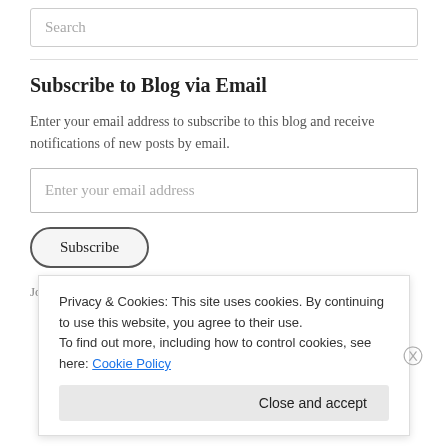Search
Subscribe to Blog via Email
Enter your email address to subscribe to this blog and receive notifications of new posts by email.
Enter your email address
Subscribe
Join 705 other followers
Privacy & Cookies: This site uses cookies. By continuing to use this website, you agree to their use.
To find out more, including how to control cookies, see here: Cookie Policy
Close and accept